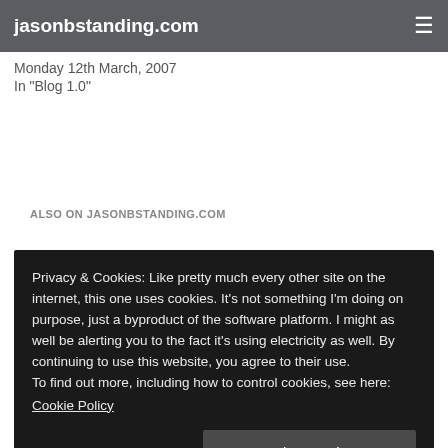jasonbstanding.com
Monday 12th March, 2007
In "Blog 1.0"
ALSO ON JASONBSTANDING.COM
Privacy & Cookies: Like pretty much every other site on the internet, this one uses cookies. It's not something I'm doing on purpose, just a byproduct of the software platform. I might as well be alerting you to the fact it's using electricity as well. By continuing to use this website, you agree to their use.
To find out more, including how to control cookies, see here:
Cookie Policy
Yawn, close and accept